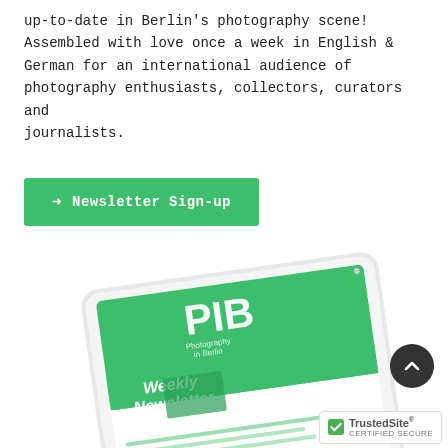up-to-date in Berlin's photography scene! Assembled with love once a week in English & German for an international audience of photography enthusiasts, collectors, curators and journalists.
[Figure (other): Green rounded rectangle button with white arrow and text 'Newsletter Sign-up']
[Figure (illustration): White tablet (iPad-like) displayed at an angle showing a green newsletter screen with 'PIB Photography in Berlin Weekly Newsletter' branding]
[Figure (logo): TrustedSite CERTIFIED SECURE badge with checkmark icon in bottom right corner]